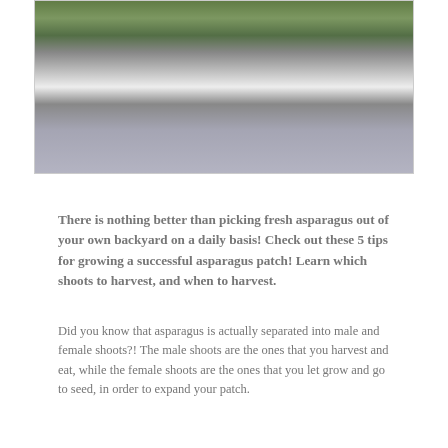[Figure (photo): Close-up photo of asparagus shoots being held, with green tips visible and a blurred background]
There is nothing better than picking fresh asparagus out of your own backyard on a daily basis! Check out these 5 tips for growing a successful asparagus patch! Learn which shoots to harvest, and when to harvest.
Did you know that asparagus is actually separated into male and female shoots?! The male shoots are the ones that you harvest and eat, while the female shoots are the ones that you let grow and go to seed, in order to expand your patch.